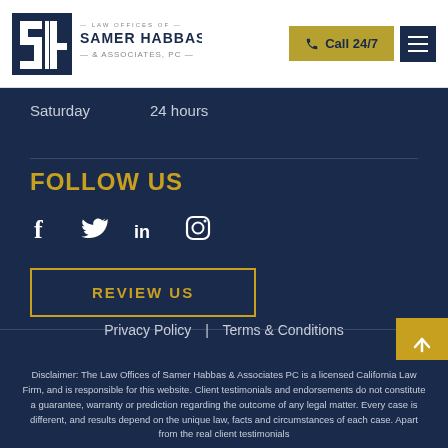[Figure (logo): Law Offices of Samer Habbas & Associates PC logo with stylized SH monogram]
Call 24/7
Saturday   24 hours
FOLLOW US
[Figure (infographic): Social media icons: Facebook, Twitter, LinkedIn, Instagram]
REVIEW US
Privacy Policy | Terms & Conditions
Disclaimer: The Law Offices of Samer Habbas & Associates PC is a licensed California Law Firm, and is responsible for this website. Client testimonials and endorsements do not constitute a guarantee, warranty or prediction regarding the outcome of any legal matter. Every case is different, and results depend on the unique law, facts and circumstances of each case. Apart from the real client testimonials